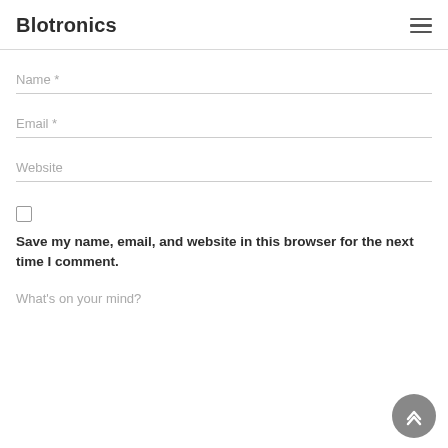Blotronics
Name *
Email *
Website
Save my name, email, and website in this browser for the next time I comment.
What's on your mind?